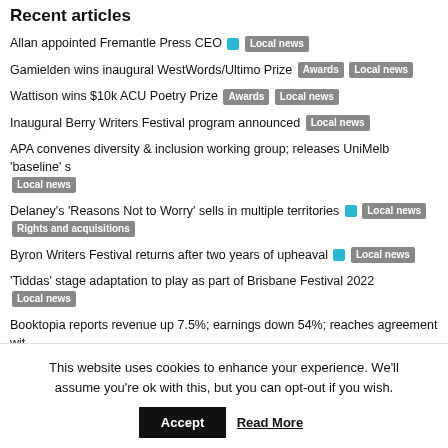Recent articles
Allan appointed Fremantle Press CEO [tag] Local news
Gamielden wins inaugural WestWords/Ultimo Prize Awards Local news
Wattison wins $10k ACU Poetry Prize Awards Local news
Inaugural Berry Writers Festival program announced Local news
APA convenes diversity & inclusion working group; releases UniMelb 'baseline' s... Local news
Delaney's 'Reasons Not to Worry' sells in multiple territories [tag] Local news Rights and acquisitions
Byron Writers Festival returns after two years of upheaval [tag] Local news
'Tiddas' stage adaptation to play as part of Brisbane Festival 2022 Local news
Booktopia reports revenue up 7.5%; earnings down 54%; reaches agreement wit... Local news
A&U acquires new Morton novel Local news Rights and acquisitions
[Figure (photo): Promotional banner image with cyan/teal background and a person on the right side]
This website uses cookies to enhance your experience. We'll assume you're ok with this, but you can opt-out if you wish.
Accept | Read More